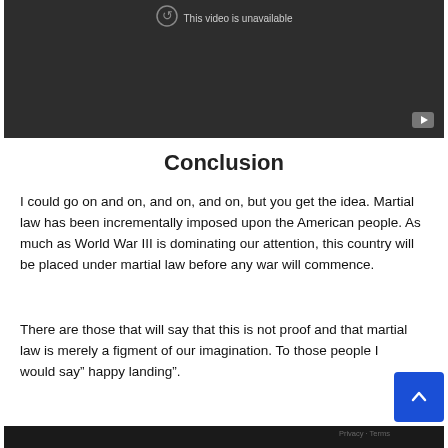[Figure (screenshot): Embedded YouTube video player showing 'This video is unavailable' message on dark background with YouTube icon in bottom right]
Conclusion
I could go on and on, and on, and on, but you get the idea. Martial law has been incrementally imposed upon the American people. As much as World War III is dominating our attention, this country will be placed under martial law before any war will commence.
There are those that will say that this is not proof and that martial law is merely a figment of our imagination. To those people I would say” happy landing”.
[Figure (screenshot): Bottom portion of another embedded video, dark bar visible at bottom edge of page]